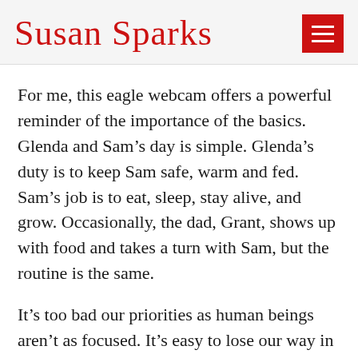Susan Sparks
For me, this eagle webcam offers a powerful reminder of the importance of the basics. Glenda and Sam’s day is simple. Glenda’s duty is to keep Sam safe, warm and fed. Sam’s job is to eat, sleep, stay alive, and grow. Occasionally, the dad, Grant, shows up with food and takes a turn with Sam, but the routine is the same.
It’s too bad our priorities as human beings aren’t as focused. It’s easy to lose our way in the avalanche of alarms, noise, news, and demands of our current world order. But what really matters in the end is the same for us as it is for the eagles: